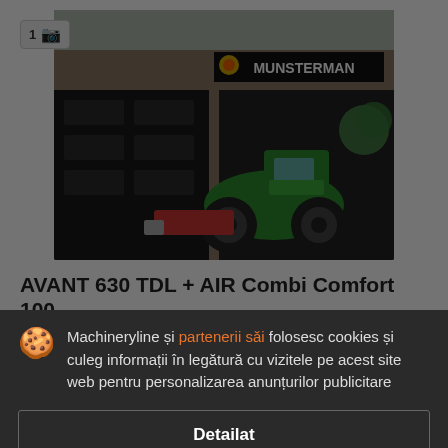[Figure (photo): Green compact wheel loader (AVANT 630 TDL) parked in front of Munsterman dealership building with dark garage doors and brick facade]
AVANT 630 TDL + AIR Combi Comfort 100
prețla cerere
Incărcăto...
Anul 20...
• Toate detalii... revedit
Machineryline și partenerii săi folosesc cookies și culeg informații în legătură cu vizitele pe acest site web pentru personalizarea anunțurilor publicitare
Detailat
Acceptă și închide